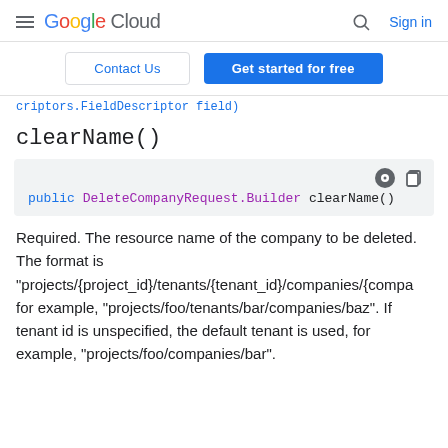Google Cloud — Sign in
Contact Us | Get started for free
criptors.FieldDescriptor field)
clearName()
public DeleteCompanyRequest.Builder clearName()
Required. The resource name of the company to be deleted. The format is "projects/{project_id}/tenants/{tenant_id}/companies/{compa for example, "projects/foo/tenants/bar/companies/baz". If tenant id is unspecified, the default tenant is used, for example, "projects/foo/companies/bar".